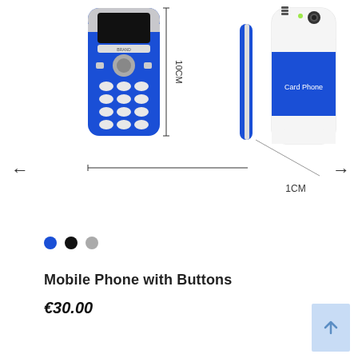[Figure (photo): Product image showing a small blue Nokia-style mobile phone with keypad from front view with dimension label '10CM' vertically, side profile view with '1CM' label at bottom, and back view showing 'Card Phone' label. Navigation arrows on left and right sides.]
Mobile Phone with Buttons
€30.00